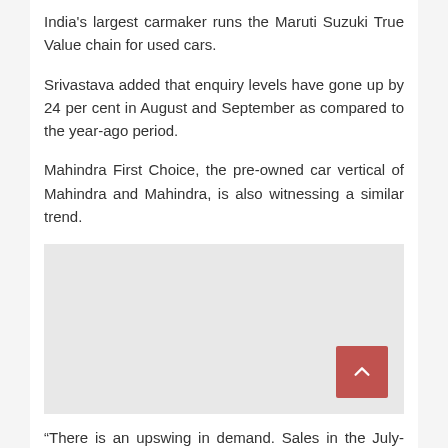India's largest carmaker runs the Maruti Suzuki True Value chain for used cars.
Srivastava added that enquiry levels have gone up by 24 per cent in August and September as compared to the year-ago period.
Mahindra First Choice, the pre-owned car vertical of Mahindra and Mahindra, is also witnessing a similar trend.
[Figure (other): Advertisement or image placeholder with a scroll-to-top button in the bottom right corner]
“There is an upswing in demand. Sales in the July-September period are up 10-15 per cent as compared to the year-ago period,” said Ashutosh Pandey, managing director and chief executive officer at Mahindra First